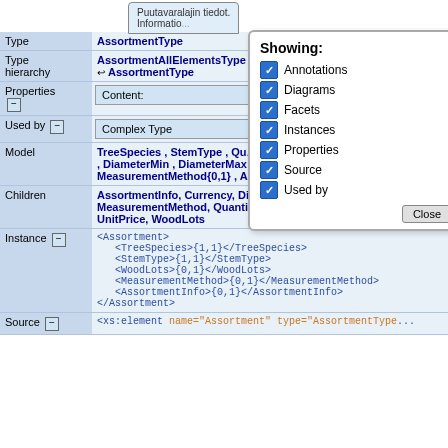Puutavaralajin tiedot. Information...
[Figure (screenshot): Showing panel with checkboxes: Annotations, Diagrams, Facets, Instances, Properties, Source, Used by, and Close button]
| Label | Content |
| --- | --- |
| Type | AssortmentType |
| Type hierarchy | AssortmentAllElementsType ↩ AssortmentType |
| Properties [-] | Content: co... |
| Used by [-] | Complex Type As... |
| Model | TreeSpecies , StemType , Qu... , DiameterMin , DiameterMax ... MeasurementMethod{0,1} , As... |
| Children | AssortmentInfo, Currency, Dia... MeasurementMethod, Quantity, QuantityUnit, StemType, TotalPr... UnitPrice, WoodLots |
| Instance [-] | <Assortment>
   <TreeSpecies>{1,1}</TreeSpecies>
   <StemType>{1,1}</StemType>
   <WoodLots>{0,1}</WoodLots>
   <MeasurementMethod>{0,1}</MeasurementMethod>
   <AssortmentInfo>{0,1}</AssortmentInfo>
</Assortment> |
| Source [-] | <xs:element name="Assortment" type="AssortmentType |